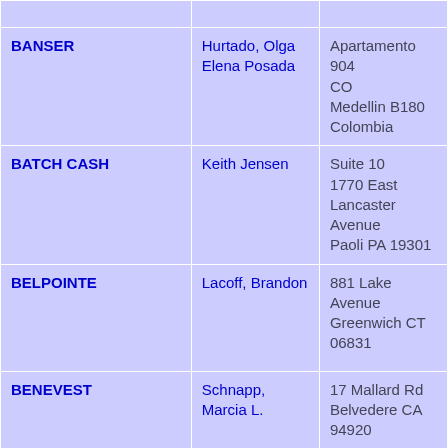| Name | Contact | Address |
| --- | --- | --- |
|  |  |  |
| BANSER | Hurtado, Olga Elena Posada | Apartamento 904
CO
Medellin B180
Colombia |
| BATCH CASH | Keith Jensen | Suite 10
1770 East Lancaster Avenue
Paoli PA 19301 |
| BELPOINTE | Lacoff, Brandon | 881 Lake Avenue
Greenwich CT 06831 |
| BENEVEST | Schnapp, Marcia L. | 17 Mallard Rd
Belvedere CA 94920 |